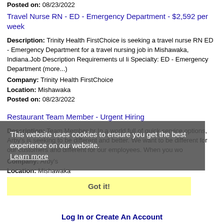Posted on: 08/23/2022
Travel Nurse RN - ED - Emergency Department - $2,592 per week
Description: Trinity Health FirstChoice is seeking a travel nurse RN ED - Emergency Department for a travel nursing job in Mishawaka, Indiana.Job Description Requirements ul li Specialty: ED - Emergency Department (more...)
Company: Trinity Health FirstChoice
Location: Mishawaka
Posted on: 08/23/2022
Restaurant Team Member - Urgent Hiring
Description: Team Member br In a world full of quick service options, Arby's is seeking to be different and better. We want to be different for our customers and different for our employees. When you work...
Company: Arby's
Location: Mishawaka
Posted on: 08/23/2022
Loading more jobs...
This website uses cookies to ensure you get the best experience on our website. Learn more
Got it!
Log In or Create An Account